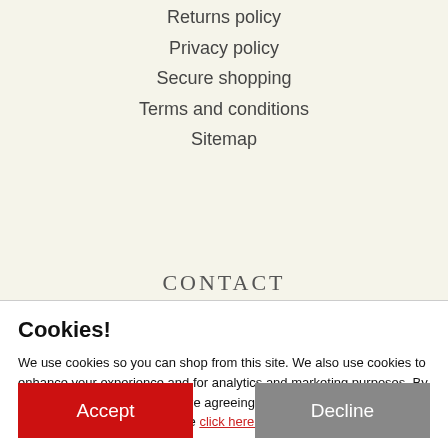Returns policy
Privacy policy
Secure shopping
Terms and conditions
Sitemap
CONTACT
Cookies!
We use cookies so you can shop from this site. We also use cookies to enhance your experience and for analytics and marketing purposes. By clicking "Accept" below, you are agreeing to these cookies. To find out more about our cookies please click here.
Accept
Decline